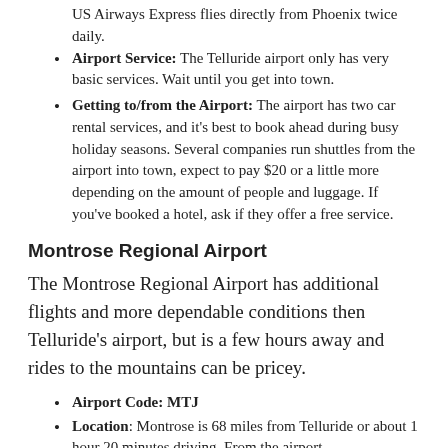US Airways Express flies directly from Phoenix twice daily.
Airport Service: The Telluride airport only has very basic services. Wait until you get into town.
Getting to/from the Airport: The airport has two car rental services, and it's best to book ahead during busy holiday seasons. Several companies run shuttles from the airport into town, expect to pay $20 or a little more depending on the amount of people and luggage. If you've booked a hotel, ask if they offer a free service.
Montrose Regional Airport
The Montrose Regional Airport has additional flights and more dependable conditions then Telluride's airport, but is a few hours away and rides to the mountains can be pricey.
Airport Code: MTJ
Location: Montrose is 68 miles from Telluride or about 1 hour 20 minutes driving. From the airport